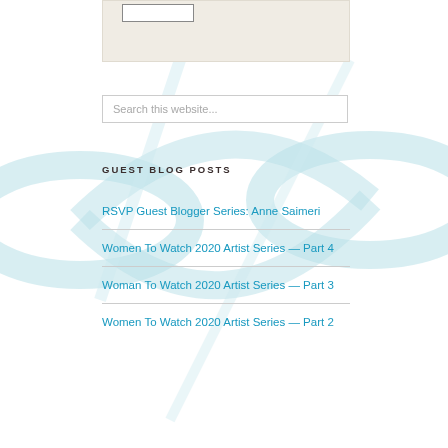[Figure (illustration): Light teal decorative background with ribbon/swirl design behind the page content]
Search this website...
GUEST BLOG POSTS
RSVP Guest Blogger Series: Anne Saimeri
Women To Watch 2020 Artist Series — Part 4
Woman To Watch 2020 Artist Series — Part 3
Women To Watch 2020 Artist Series — Part 2